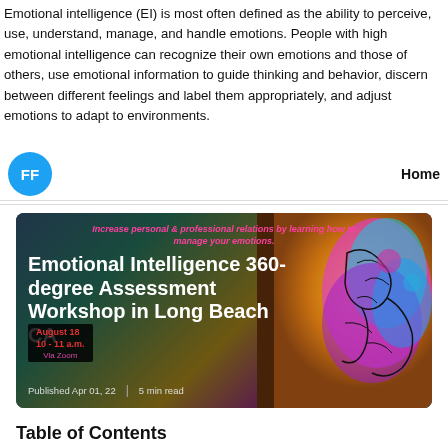Emotional intelligence (EI) is most often defined as the ability to perceive, use, understand, manage, and handle emotions. People with high emotional intelligence can recognize their own emotions and those of others, use emotional information to guide thinking and behavior, discern between different feelings and label them appropriately, and adjust emotions to adapt to environments.
FF  Home
[Figure (illustration): Promotional card with colorful brain illustration. Text reads: 'Increase personal & professional relations by learning how to manage your emotions.' Large title: 'Emotional Intelligence 360-degree Assessment Workshop in Long Beach CA'. Date box: 'August 18, 10 - 11 a.m., Via Zoom'. Footer: 'Published Apr 01, 22 | 5 min read']
Table of Contents